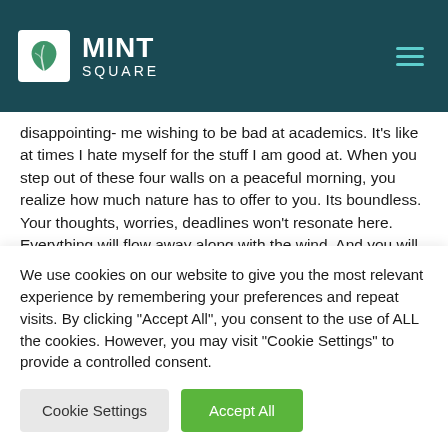MINT SQUARE
disappointing- me wishing to be bad at academics. It's like at times I hate myself for the stuff I am good at. When you step out of these four walls on a peaceful morning, you realize how much nature has to offer to you. Its boundless. Your thoughts, worries, deadlines won't resonate here. Everything will flow away along with the wind. And you will realize every answer you had been looking for, was always known to you. It
We use cookies on our website to give you the most relevant experience by remembering your preferences and repeat visits. By clicking “Accept All”, you consent to the use of ALL the cookies. However, you may visit "Cookie Settings" to provide a controlled consent.
Cookie Settings
Accept All